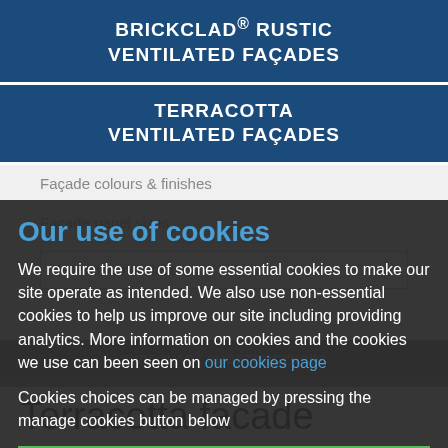BRICKCLAD® RUSTIC VENTILATED FAÇADES
TERRACOTTA VENTILATED FAÇADES
Façade colours & finishes
Façade panel sizes
Terracotta installation...
Our use of cookies
We require the use of some essential cookies to make our site operate as intended. We also use non-essential cookies to help us improve our site including providing analytics. More information on cookies and the cookies we use can been seen on our cookies page
Cookies choices can be managed by pressing the manage cookies button below
Accept All | Manage Cookies
Terracotta facade